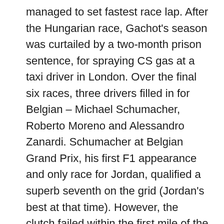managed to set fastest race lap. After the Hungarian race, Gachot's season was curtailed by a two-month prison sentence, for spraying CS gas at a taxi driver in London. Over the final six races, three drivers filled in for Belgian – Michael Schumacher, Roberto Moreno and Alessandro Zanardi. Schumacher at Belgian Grand Prix, his first F1 appearance and only race for Jordan, qualified a superb seventh on the grid (Jordan's best at that time). However, the clutch failed within the first mile of the race. After his brilliant debut Schumacher was quickly engaged by Flavio Briatore and joined the Benetton team. This scale model is made by Minichamps. See also Gachot's car by Onyx and Moreno's by IXO from Lendas Brasileiros do Automobilismo Collection.